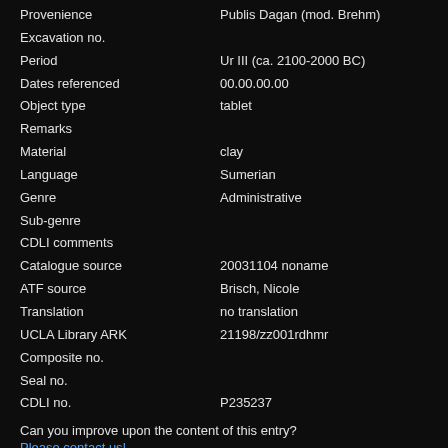| Field | Value |
| --- | --- |
| Provenience | Publis Dagan (mod. Brehm) |
| Excavation no. |  |
| Period | Ur III (ca. 2100-2000 BC) |
| Dates referenced | 00.00.00.00 |
| Object type | tablet |
| Remarks |  |
| Material | clay |
| Language | Sumerian |
| Genre | Administrative |
| Sub-genre |  |
| CDLI comments |  |
| Catalogue source | 20031104 noname |
| ATF source | Brisch, Nicole |
| Translation | no translation |
| UCLA Library ARK | 21198/zz001rdhmr |
| Composite no. |  |
| Seal no. |  |
| CDLI no. | P235237 |
Can you improve upon the content of this entry?
Please contact us!
KM 89219
Click for archival page
| Field | Value |
| --- | --- |
| Primary publication | unpublished unassigned ? |
| Author(s) | nn |